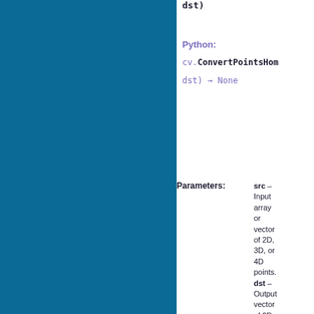dst)
Python:
cv.ConvertPointsHom(dst) → None
Parameters: src – Input array or vector of 2D, 3D, or 4D points. dst – Output vector of 2D, 3D, or 4D points.